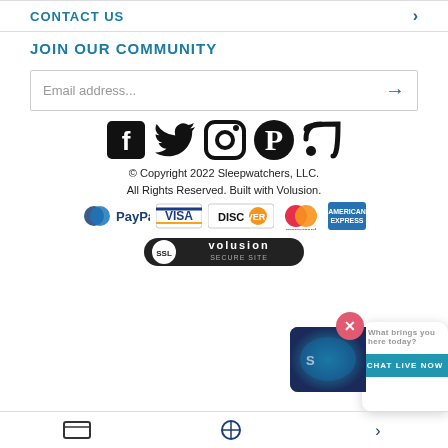CONTACT US
JOIN OUR COMMUNITY
Email address...
[Figure (infographic): Social media icons: Facebook, Twitter, Instagram, Pinterest, RSS feed]
© Copyright 2022 Sleepwatchers, LLC. All Rights Reserved. Built with Volusion.
[Figure (infographic): Payment logos: PayPal, Visa, Discover, Mastercard, American Express]
[Figure (infographic): SSL Volusion Secure Site badge]
What brings you here today?
CHAT LIVE NOW